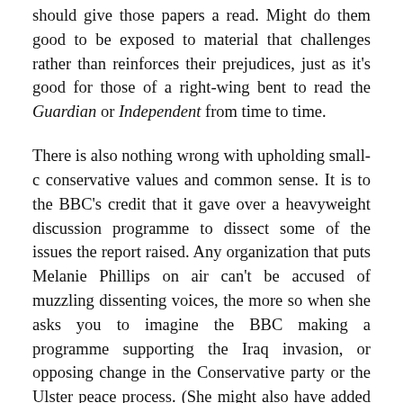should give those papers a read. Might do them good to be exposed to material that challenges rather than reinforces their prejudices, just as it's good for those of a right-wing bent to read the Guardian or Independent from time to time.
There is also nothing wrong with upholding small-c conservative values and common sense. It is to the BBC's credit that it gave over a heavyweight discussion programme to dissect some of the issues the report raised. Any organization that puts Melanie Phillips on air can't be accused of muzzling dissenting voices, the more so when she asks you to imagine the BBC making a programme supporting the Iraq invasion, or opposing change in the Conservative party or the Ulster peace process. (She might also have added climate change to the list.) That's the BBC's illiberal consensus, according to Melanie Phillips.